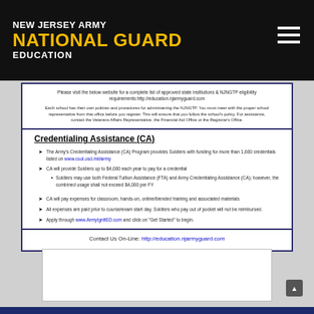NEW JERSEY ARMY NATIONAL GUARD EDUCATION
Please visit the below website for a complete list of approved state institutions & NJNGTP eligibility requirements: http://education.njarmyguard.com
Each school has their own policies and procedures for administering the NJNGTP. You must meet with the proper school representative from that office before you register. This will ensure that you follow the school's policy. For assistance, contact the Veterans Affairs Representative, the Financial Aid Office or the Registrar's Office.
Credentialing Assistance (CA)
The Army's Credentialing Assistance (CA) Program provides Soldiers with funding for more than 1,600 credentials listed on www.cool.osd.mil/army
CA will provide Soldiers up to $4,000 each year to pay for a credential
Soldiers may use both Federal Tuition Assistance (FTA) and Army Credentialing Assistance (CA); however, the combined usage shall not exceed $4,000 per FY
CA will pay expenses for classroom, hands-on, online/blended training and associated materials
All expenses are paid prior to course/exam start day. Soldiers who pay out of pocket will not be reimbursed.
Apply through www.ArmyIgnitED.com and click on "Get Started" to begin.
Contact Us On-Line: http://education.njarmyguard.com